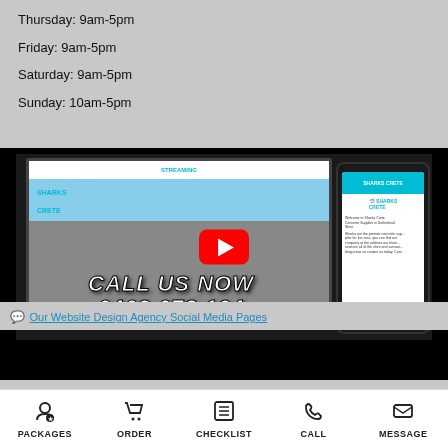Thursday: 9am-5pm
Friday: 9am-5pm
Saturday: 9am-5pm
Sunday: 10am-5pm
[Figure (screenshot): YouTube-style video thumbnail showing a website design for Sharks Crete concrete supplier, with a monitor displaying the website and a phone showing the mobile version. Overlay text reads CALL US NOW 0402 072 194 with a red YouTube play button.]
Our Website Design Agency Social Media Pages
PACKAGES  ORDER  CHECKLIST  CALL  MESSAGE